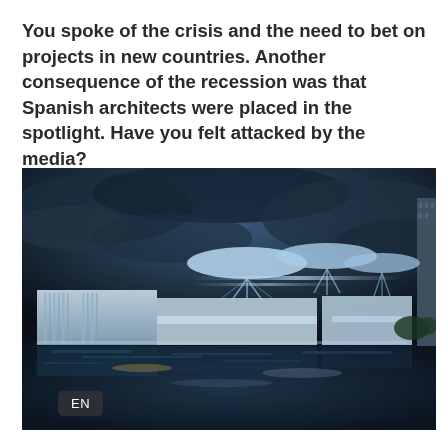You spoke of the crisis and the need to bet on projects in new countries. Another consequence of the recession was that Spanish architects were placed in the spotlight. Have you felt attacked by the media?
[Figure (illustration): Architectural rendering of a modern building complex at night/dusk, featuring futuristic mushroom-shaped canopy structures hovering above a white building with vertical fin elements, reflected in a body of water below, with dramatic dark cloudy sky. An 'EN' language badge is visible in the lower left corner of the image.]